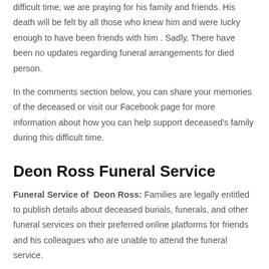difficult time, we are praying for his family and friends. His death will be felt by all those who knew him and were lucky enough to have been friends with him . Sadly, There have been no updates regarding funeral arrangements for died person.
In the comments section below, you can share your memories of the deceased or visit our Facebook page for more information about how you can help support deceased's family during this difficult time.
Deon Ross Funeral Service
Funeral Service of  Deon Ross: Families are legally entitled to publish details about deceased burials, funerals, and other funeral services on their preferred online platforms for friends and his colleagues who are unable to attend the funeral service.